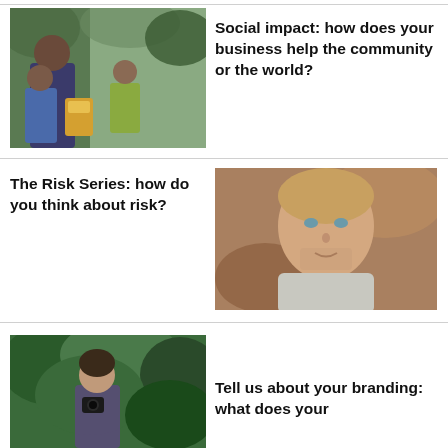[Figure (photo): Photo of an adult with two young children sharing food outdoors]
Social impact: how does your business help the community or the world?
The Risk Series: how do you think about risk?
[Figure (photo): Portrait photo of a young blonde man in a grey t-shirt]
[Figure (photo): Photo of a woman in front of green foliage holding a camera]
Tell us about your branding: what does your...